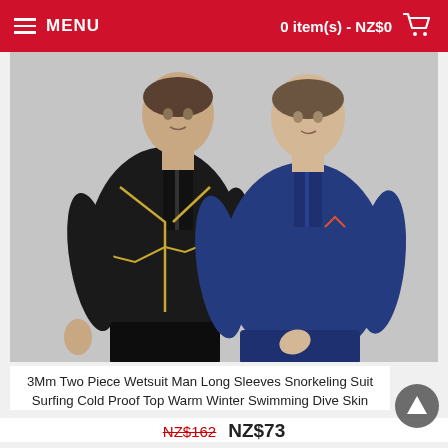MENU   0 item(s) - NZ$0
[Figure (photo): Two men wearing wetsuits — one in a black wetsuit with yellow/gold seams, one in a solid navy blue wetsuit — both showing long-sleeved zip-up tops against a light background.]
3Mm Two Piece Wetsuit Man Long Sleeves Snorkeling Suit Surfing Cold Proof Top Warm Winter Swimming Dive Skin
NZ$162  NZ$73